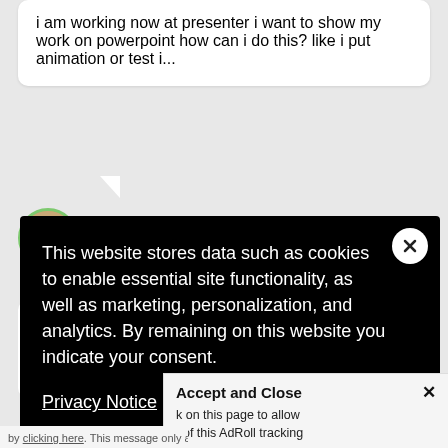i am working now at presenter i want to show my work on powerpoint how can i do this? like i put animation or test i...
mohammed hamdy
6 Replies
to my
line
This website stores data such as cookies to enable essential site functionality, as well as marketing, personalization, and analytics. By remaining on this website you indicate your consent.
Privacy Notice
Accept and Close ✕
k on this page to allow t of this AdRoll tracking